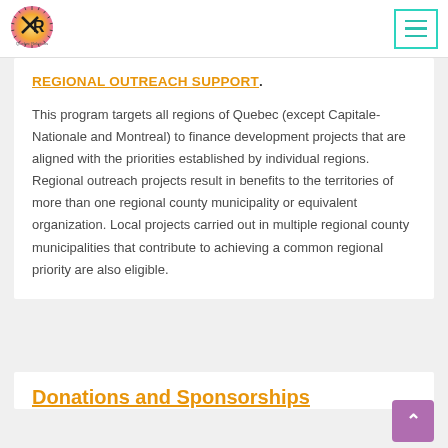Quebec Relations — navigation header with logo and menu button
REGIONAL OUTREACH SUPPORT.
This program targets all regions of Quebec (except Capitale-Nationale and Montreal) to finance development projects that are aligned with the priorities established by individual regions. Regional outreach projects result in benefits to the territories of more than one regional county municipality or equivalent organization. Local projects carried out in multiple regional county municipalities that contribute to achieving a common regional priority are also eligible.
Donations and Sponsorships